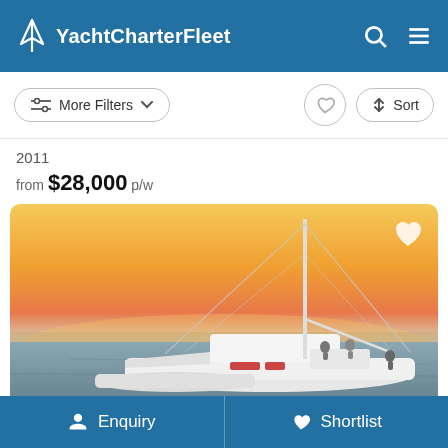YachtCharterFleet
More Filters  ↕ Sort
2011
from $28,000 p/w
[Figure (photo): A white catamaran yacht photographed at sunset on calm water, with an orange and yellow sky backdrop. People visible on deck.]
Enquiry  Shortlist